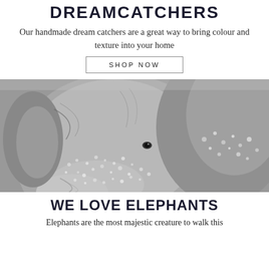DREAMCATCHERS
Our handmade dream catchers are a great way to bring colour and texture into your home
SHOP NOW
[Figure (photo): Close-up black and white photograph of two elephants, showing detailed texture of their skin with spots and wrinkles]
WE LOVE ELEPHANTS
Elephants are the most majestic creature to walk this